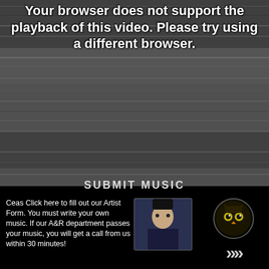[Figure (screenshot): Video playback error screen showing static/noise background with white bold text overlay reading: 'Your browser does not support the playback of this video. Please try using a different browser.']
Ceas Click here to fill out our Artist Form. You must write your own music. If our A&R department passes your music, you will get a call from us within 30 minutes!